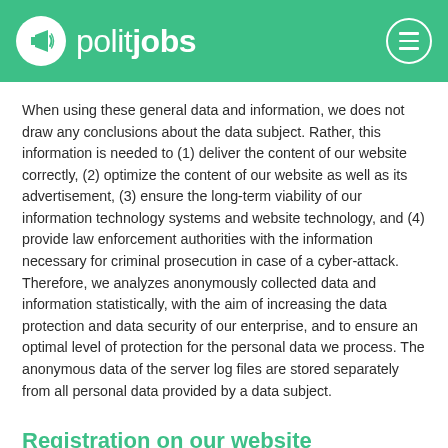politjobs
When using these general data and information, we does not draw any conclusions about the data subject. Rather, this information is needed to (1) deliver the content of our website correctly, (2) optimize the content of our website as well as its advertisement, (3) ensure the long-term viability of our information technology systems and website technology, and (4) provide law enforcement authorities with the information necessary for criminal prosecution in case of a cyber-attack. Therefore, we analyzes anonymously collected data and information statistically, with the aim of increasing the data protection and data security of our enterprise, and to ensure an optimal level of protection for the personal data we process. The anonymous data of the server log files are stored separately from all personal data provided by a data subject.
Registration on our website